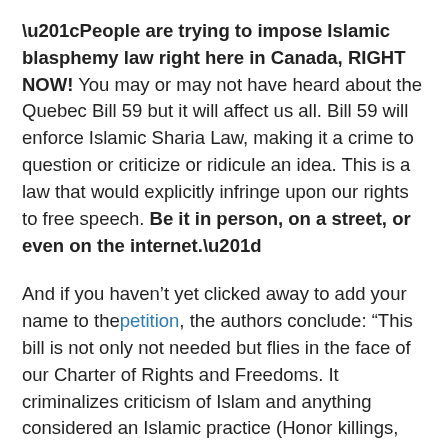“People are trying to impose Islamic blasphemy law right here in Canada, RIGHT NOW! You may or may not have heard about the Quebec Bill 59 but it will affect us all. Bill 59 will enforce Islamic Sharia Law, making it a crime to question or criticize or ridicule an idea. This is a law that would explicitly infringe upon our rights to free speech. Be it in person, on a street, or even on the internet.”
And if you haven’t yet clicked away to add your name to the petition, the authors conclude: “This bill is not only not needed but flies in the face of our Charter of Rights and Freedoms. It criminalizes criticism of Islam and anything considered an Islamic practice (Honor killings, honor rape, female genital mutilation, female oppression, and beating of wives and children).”
Constitutional attorney Julius Grey commented recently